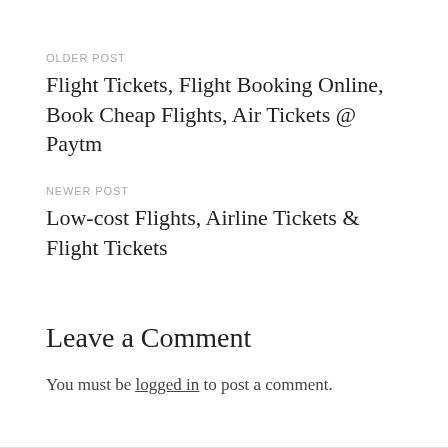OLDER POST
Flight Tickets, Flight Booking Online, Book Cheap Flights, Air Tickets @ Paytm
NEWER POST
Low-cost Flights, Airline Tickets & Flight Tickets
Leave a Comment
You must be logged in to post a comment.